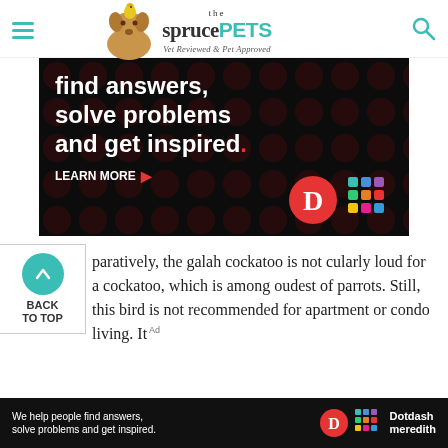the spruce PETS — Vet Reviewed & Pet Approved
[Figure (advertisement): Ad banner on dark background with dark red polka dot pattern. Text reads: 'find answers, solve problems and get inspired.' with a red period. 'LEARN MORE' with arrow. Dotdash and crossword-like logos shown bottom right.]
paratively, the galah cockatoo is not cularly loud for a cockatoo, which is among oudest of parrots. Still, this bird is not recommended for apartment or condo living. It
[Figure (advertisement): Bottom ad banner: 'We help people find answers, solve problems and get inspired.' with Dotdash Meredith logo.]